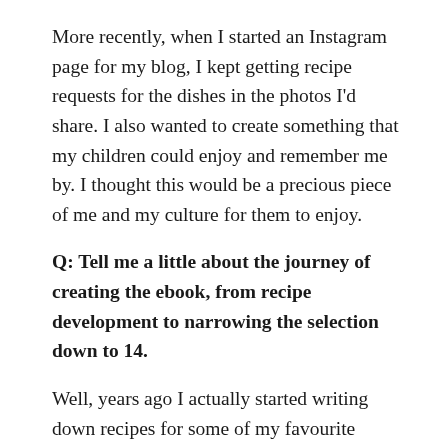More recently, when I started an Instagram page for my blog, I kept getting recipe requests for the dishes in the photos I'd share. I also wanted to create something that my children could enjoy and remember me by. I thought this would be a precious piece of me and my culture for them to enjoy.
Q: Tell me a little about the journey of creating the ebook, from recipe development to narrowing the selection down to 14.
Well, years ago I actually started writing down recipes for some of my favourite dishes because I wanted to recreate them with the same level of yumminess each time. However, I